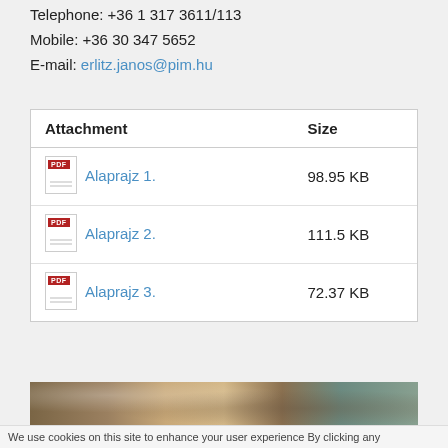Telephone: +36 1 317 3611/113
Mobile: +36 30 347 5652
E-mail: erlitz.janos@pim.hu
| Attachment | Size |
| --- | --- |
| Alaprajz 1. | 98.95 KB |
| Alaprajz 2. | 111.5 KB |
| Alaprajz 3. | 72.37 KB |
[Figure (photo): Partial view of a rooftop or architectural structure]
We use cookies on this site to enhance your user experience By clicking any